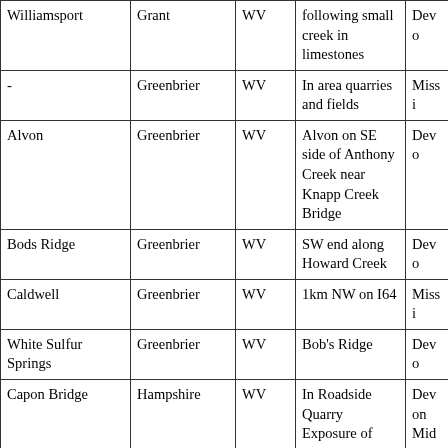| Location | County | State | Description | Age |
| --- | --- | --- | --- | --- |
| Williamsport | Grant | WV | following small creek in limestones | Devo |
| - | Greenbrier | WV | In area quarries and fields | Missi |
| Alvon | Greenbrier | WV | Alvon on SE side of Anthony Creek near Knapp Creek Bridge | Devo |
| Bods Ridge | Greenbrier | WV | SW end along Howard Creek | Devo |
| Caldwell | Greenbrier | WV | 1km NW on I64 | Missi |
| White Sulfur Springs | Greenbrier | WV | Bob's Ridge | Devo |
| Capon Bridge | Hampshire | WV | In Roadside Quarry Exposure of | Devon Midd |
| Capon Lake | Hampshire | WV | In road cut |  |
| Hanging Rock | Hampshire | WV | along US50 | Devo |
|  |  |  | 5 km E along |  |